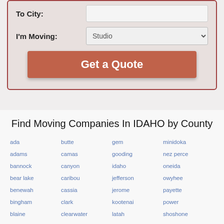To City:
I'm Moving: Studio
Get a Quote
Find Moving Companies In IDAHO by County
ada
butte
gem
minidoka
adams
camas
gooding
nez perce
bannock
canyon
idaho
oneida
bear lake
caribou
jefferson
owyhee
benewah
cassia
jerome
payette
bingham
clark
kootenai
power
blaine
clearwater
latah
shoshone